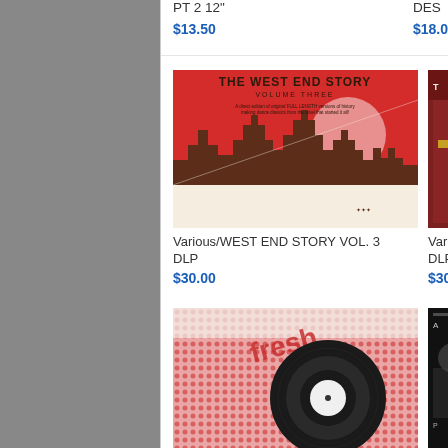PT 2 12"
$13.50
DES
$18.0
[Figure (photo): Album cover: The West End Story Volume Three - red and white design with city skyline silhouette]
Various/WEST END STORY VOL. 3 DLP
$30.00
Vario DLP
$30.0
[Figure (photo): Vinyl record with pink dotted Fresh label sleeve]
[Figure (photo): Partially visible album cover on right side]